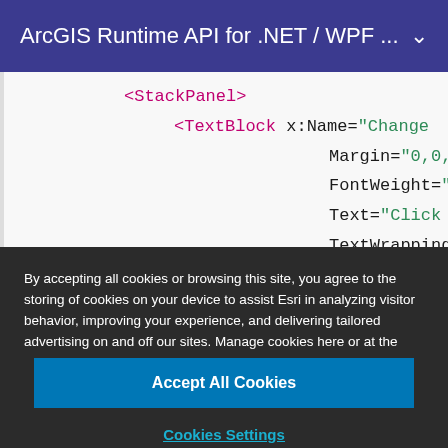ArcGIS Runtime API for .NET / WPF ...
[Figure (screenshot): Code editor showing XML snippet with StackPanel and TextBlock elements. TextBlock has attributes: x:Name, Margin, FontWeight, Text, TextWrapping.]
By accepting all cookies or browsing this site, you agree to the storing of cookies on your device to assist Esri in analyzing visitor behavior, improving your experience, and delivering tailored advertising on and off our sites. Manage cookies here or at the bottom of any page.
Accept All Cookies
Cookies Settings